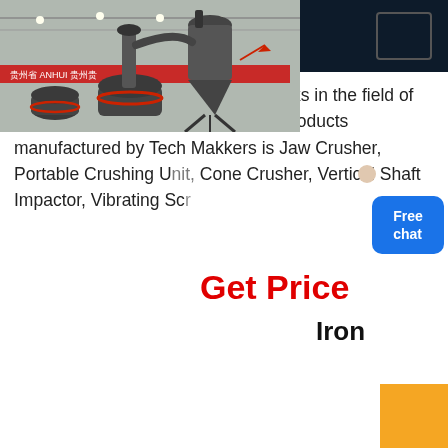MENU
brand of Harisiddh Engineering Works in the field of Crushing Equipments. The quality products manufactured by Tech Makkers is Jaw Crusher, Portable Crushing Unit, Cone Crusher, Vertical Shaft Impactor, Vibrating Scr...
Get Price
[Figure (photo): Industrial grinding/milling machine equipment displayed in a large warehouse with red banner decorations, showing large cylindrical mill and cyclone separator units.]
Iron